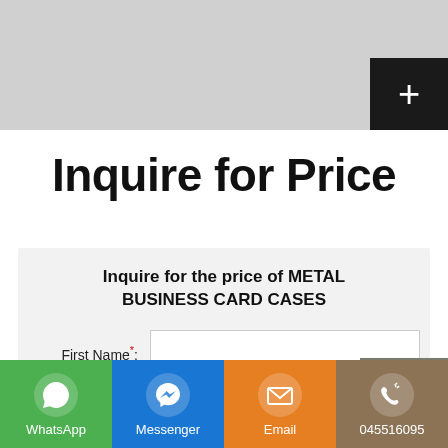[Figure (screenshot): Gray placeholder image area at top of page with a black plus button in the top-right corner]
Inquire for Price
Inquire for the price of METAL BUSINESS CARD CASES
First Name*: [input field]
Last Name*: [input field]
WhatsApp | Messenger | Email | 045516095